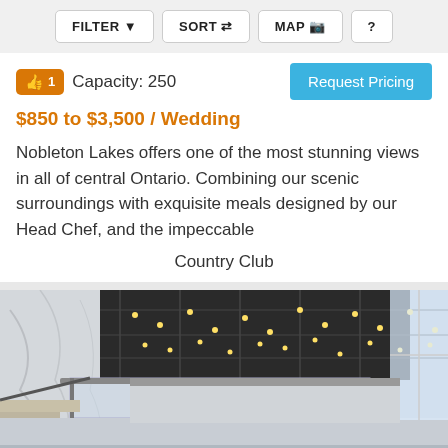FILTER  SORT  MAP  ?
Capacity: 250
Request Pricing
$850 to $3,500 / Wedding
Nobleton Lakes offers one of the most stunning views in all of central Ontario. Combining our scenic surroundings with exquisite meals designed by our Head Chef, and the impeccable
Country Club
[Figure (photo): Interior photo of a modern event venue or country club showing a glass-railed staircase, marble-patterned wall, dark industrial ceiling with string lights, and bright windows.]